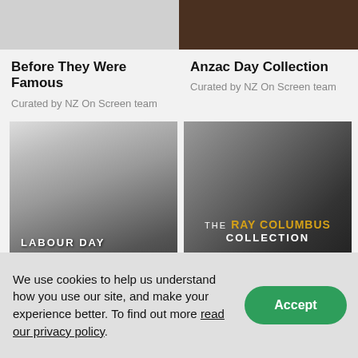[Figure (photo): Partial top image - left column, cropped/cut off at top]
[Figure (photo): Partial top image - right column, dark brownish background, cropped at top]
Before They Were Famous
Curated by NZ On Screen team
Anzac Day Collection
Curated by NZ On Screen team
[Figure (photo): Black and white photo of an elderly bearded man, with overlay text LABOUR DAY]
[Figure (photo): Black and white photo of a young man singing, with overlay text THE RAY COLUMBUS COLLECTION]
Labour Day Collection
Curated by NZ On Screen team
The Ray Columbus Collection
We use cookies to help us understand how you use our site, and make your experience better. To find out more read our privacy policy.